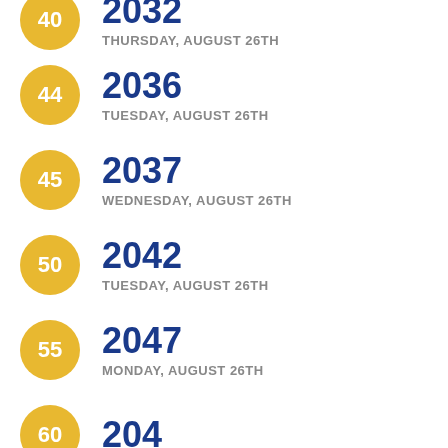40 · 2032 · THURSDAY, AUGUST 26TH
44 · 2036 · TUESDAY, AUGUST 26TH
45 · 2037 · WEDNESDAY, AUGUST 26TH
50 · 2042 · TUESDAY, AUGUST 26TH
55 · 2047 · MONDAY, AUGUST 26TH
60 · 204? · ...